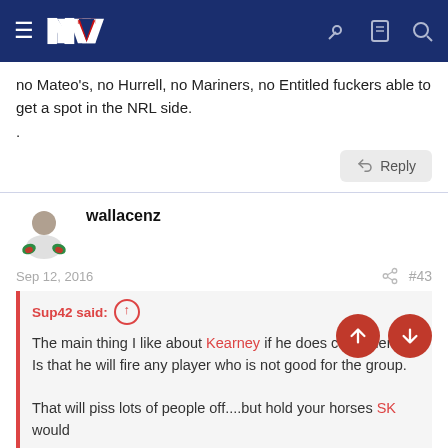NZ Warriors Forum navigation bar
no Mateo's, no Hurrell, no Mariners, no Entitled fuckers able to get a spot in the NRL side.
.
wallacenz
Sep 12, 2016  #43
Sup42 said:  The main thing I like about Kearney if he does come here... Is that he will fire any player who is not good for the group.

That will piss lots of people off....but hold your horses SK would